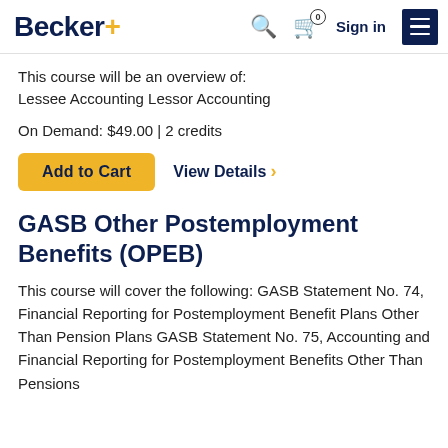Becker+ | Sign in
This course will be an overview of: Lessee Accounting Lessor Accounting
On Demand: $49.00 | 2 credits
Add to Cart   View Details
GASB Other Postemployment Benefits (OPEB)
This course will cover the following: GASB Statement No. 74, Financial Reporting for Postemployment Benefit Plans Other Than Pension Plans GASB Statement No. 75, Accounting and Financial Reporting for Postemployment Benefits Other Than Pensions